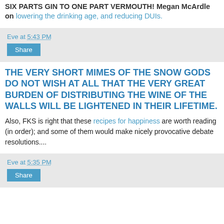SIX PARTS GIN TO ONE PART VERMOUTH! Megan McArdle on lowering the drinking age, and reducing DUIs.
Eve at 5:43 PM
Share
THE VERY SHORT MIMES OF THE SNOW GODS DO NOT WISH AT ALL THAT THE VERY GREAT BURDEN OF DISTRIBUTING THE WINE OF THE WALLS WILL BE LIGHTENED IN THEIR LIFETIME.
Also, FKS is right that these recipes for happiness are worth reading (in order); and some of them would make nicely provocative debate resolutions....
Eve at 5:35 PM
Share